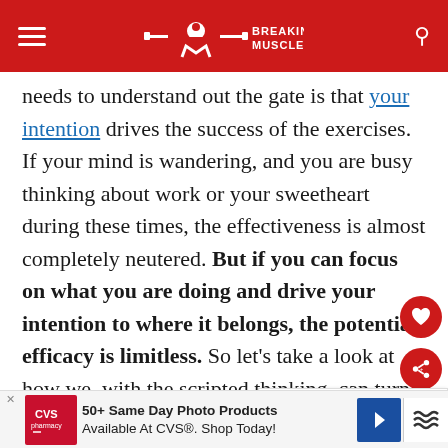Breaking Muscle
needs to understand out the gate is that your intention drives the success of the exercises. If your mind is wandering, and you are busy thinking about work or your sweetheart during these times, the effectiveness is almost completely neutered. But if you can focus on what you are doing and drive your intention to where it belongs, the potential efficacy is limitless. So let's take a look at how we, with the scripted thinking, can turn the kettlebell swing into one of the most powerful gi building exercises
[Figure (screenshot): What's Next promo card showing a kettlebell article thumbnail]
[Figure (screenshot): CVS Pharmacy advertisement banner: 50+ Same Day Photo Products Available At CVS. Shop Today!]